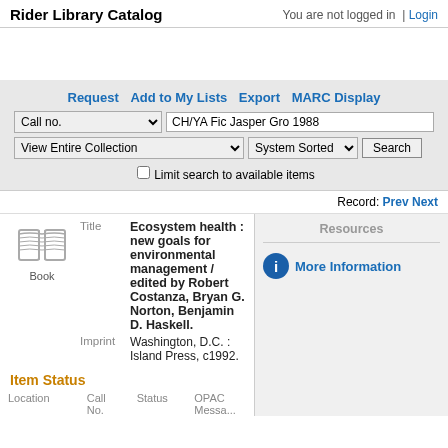Rider Library Catalog   You are not logged in  | Login
Request  Add to My Lists  Export  MARC Display
Call no.  CH/YA Fic Jasper Gro 1988
View Entire Collection  System Sorted  Search
Limit search to available items
Record:  Prev  Next
Resources
More Information
[Figure (illustration): Book icon]
Book
Title  Ecosystem health : new goals for environmental management / edited by Robert Costanza, Bryan G. Norton, Benjamin D. Haskell.
Imprint  Washington, D.C. : Island Press, c1992.
Item Status
| Location | Call No. | Status | OPAC Message | R |
| --- | --- | --- | --- | --- |